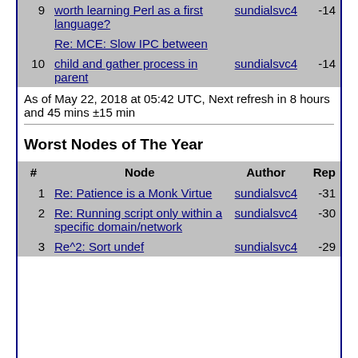| # | Node | Author | Rep |
| --- | --- | --- | --- |
| 9 | worth learning Perl as a first language? | sundialsvc4 | -14 |
| 10 | Re: MCE: Slow IPC between child and gather process in parent | sundialsvc4 | -14 |
As of May 22, 2018 at 05:42 UTC, Next refresh in 8 hours and 45 mins ±15 min
Worst Nodes of The Year
| # | Node | Author | Rep |
| --- | --- | --- | --- |
| 1 | Re: Patience is a Monk Virtue | sundialsvc4 | -31 |
| 2 | Re: Running script only within a specific domain/network | sundialsvc4 | -30 |
| 3 | Re^2: Sort undef | sundialsvc4 | -29 |